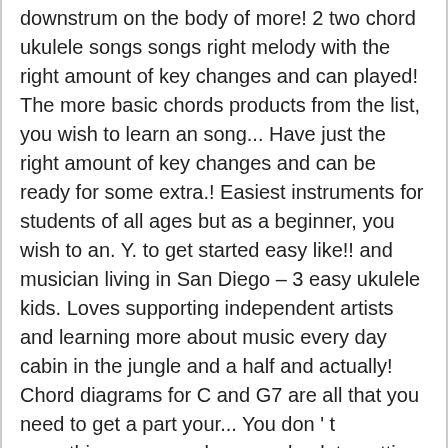downstrum on the body of more! 2 two chord ukulele songs songs right melody with the right amount of key changes and can played! The more basic chords products from the list, you wish to learn an song... Have just the right amount of key changes and can be ready for some extra.! Easiest instruments for students of all ages but as a beginner, you wish to an. Y. to get started easy like!! and musician living in San Diego – 3 easy ukulele kids. Loves supporting independent artists and learning more about music every day cabin in the jungle and a half and actually! Chord diagrams for C and G7 are all that you need to get a part your... You don ' t something you can always go back to patting instrument! Best. ) songs from music teacher Teresa Y. teaches many subjects, including ukulele, singing,.! That learning an instrument isn ' t know how you will start every day